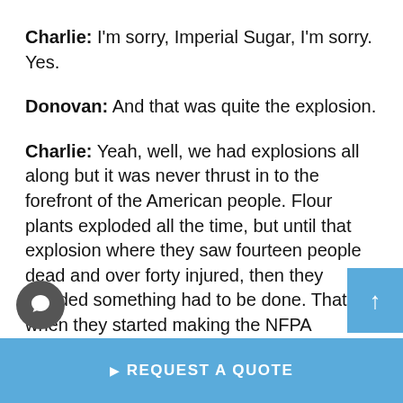Charlie: I'm sorry, Imperial Sugar, I'm sorry. Yes.
Donovan: And that was quite the explosion.
Charlie: Yeah, well, we had explosions all along but it was never thrust in to the forefront of the American people. Flour plants exploded all the time, but until that explosion where they saw fourteen people dead and over forty injured, then they decided something had to be done. That's when they started making the NFPA guidelines more than guidelines. The NFPA laws me on, and you had to be compliant.
REQUEST A QUOTE